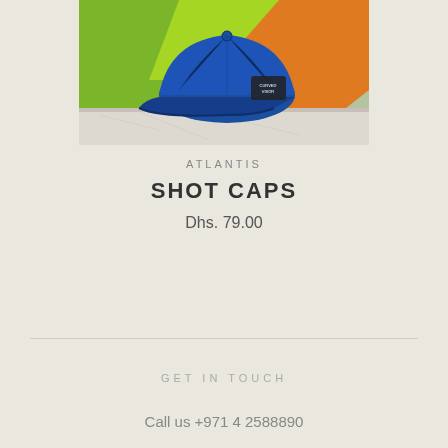[Figure (photo): A blue structured baseball cap with a curved brim, displayed on a marble surface with a colorful green and orange background.]
ATLANTIS
SHOT CAPS
Dhs. 79.00
GET IN TOUCH
Call us +971 4 2588890